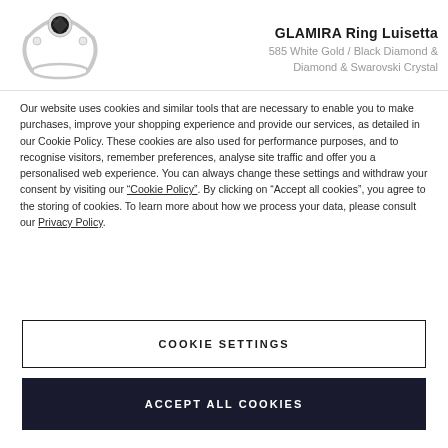[Figure (photo): Product photo of GLAMIRA Ring Luisetta - a ring with black diamond center stone and diamond accents on white gold band, shown on white background]
GLAMIRA Ring Luisetta
585 White Gold / Black Diamond & Diamond & Swarovski Crystal
Our website uses cookies and similar tools that are necessary to enable you to make purchases, improve your shopping experience and provide our services, as detailed in our Cookie Policy. These cookies are also used for performance purposes, and to recognise visitors, remember preferences, analyse site traffic and offer you a personalised web experience. You can always change these settings and withdraw your consent by visiting our “Cookie Policy”. By clicking on “Accept all cookies”, you agree to the storing of cookies. To learn more about how we process your data, please consult our Privacy Policy.
COOKIE SETTINGS
ACCEPT ALL COOKIES